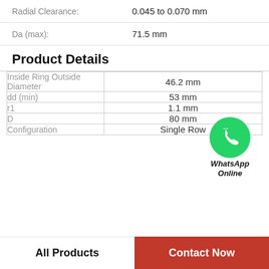Radial Clearance: 0.045 to 0.070 mm
Da (max): 71.5 mm
Product Details
| Property | Value |
| --- | --- |
| Inside Ring Outside Diameter | 46.2 mm |
| dd (min) | 53 mm |
| r1 | 1.1 mm |
| D | 80 mm |
| Configuration | Single Row |
[Figure (logo): WhatsApp Online green phone icon badge with italic bold text 'WhatsApp Online']
All Products
Contact Now